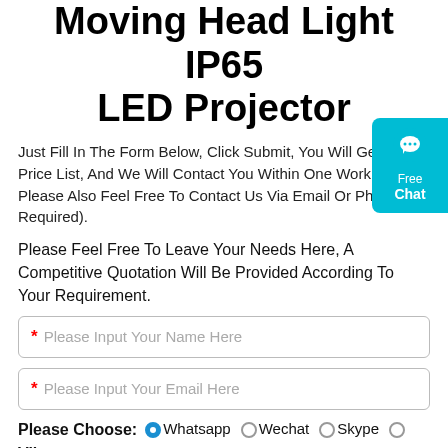Moving Head Light IP65 LED Projector
Just Fill In The Form Below, Click Submit, You Will Get The Price List, And We Will Contact You Within One Working Day. Please Also Feel Free To Contact Us Via Email Or Phone. (* Required).
Please Feel Free To Leave Your Needs Here, A Competitive Quotation Will Be Provided According To Your Requirement.
* Please Input Your Name Here
* Please Input Your Email Here
Please Choose: Whatsapp (selected) Wechat Skype Viber
[Figure (other): Free Chat widget button in cyan/teal color on right edge of page with chat bubble icon]